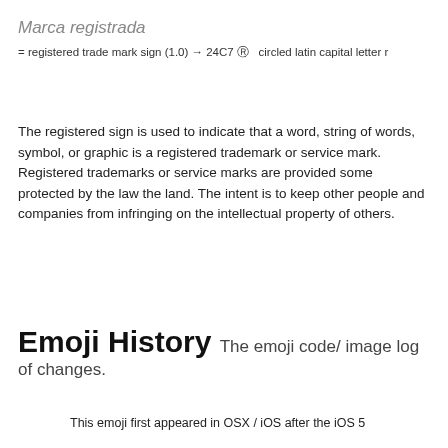Marca registrada
= registered trade mark sign (1.0) → 24C7 Ⓡ circled latin capital letter r
The registered sign is used to indicate that a word, string of words, symbol, or graphic is a registered trademark or service mark. Registered trademarks or service marks are provided some protected by the law the land. The intent is to keep other people and companies from infringing on the intellectual property of others.
Emoji History The emoji code/ image log of changes.
This emoji first appeared in OSX / iOS after the iOS 5